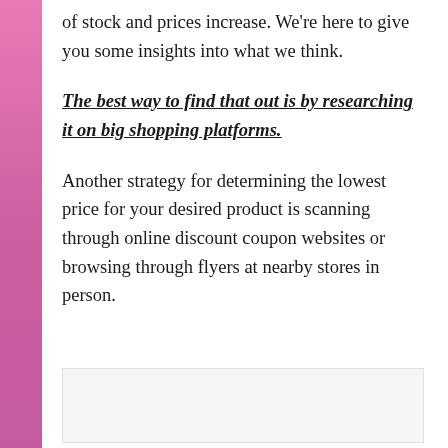of stock and prices increase. We're here to give you some insights into what we think.
The best way to find that out is by researching it on big shopping platforms.
Another strategy for determining the lowest price for your desired product is scanning through online discount coupon websites or browsing through flyers at nearby stores in person.
[Figure (other): Empty light gray image box placeholder]